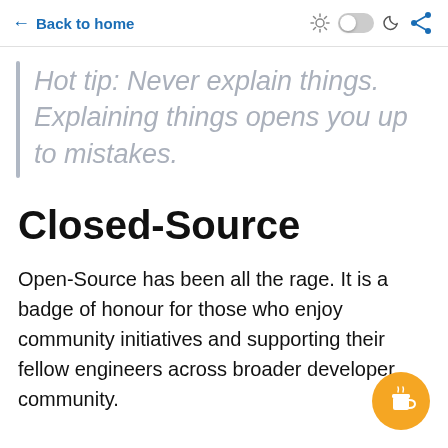← Back to home
Hot tip: Never explain things. Explaining things opens you up to mistakes.
Closed-Source
Open-Source has been all the rage. It is a badge of honour for those who enjoy community initiatives and supporting their fellow engineers across broader developer community.